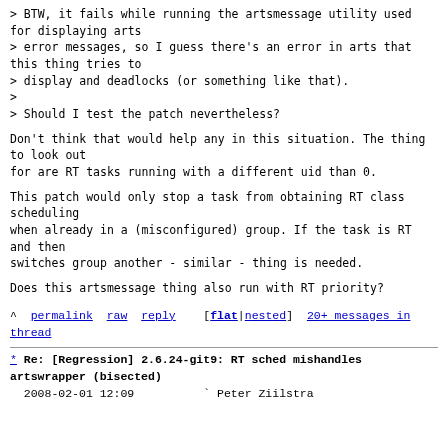> BTW, it fails while running the artsmessage utility used for displaying arts
> error messages, so I guess there's an error in arts that this thing tries to
> display and deadlocks (or something like that).
>
> Should I test the patch nevertheless?
Don't think that would help any in this situation. The thing to look out
for are RT tasks running with a different uid than 0.
This patch would only stop a task from obtaining RT class scheduling
when already in a (misconfigured) group. If the task is RT and then
switches group another - similar - thing is needed.
Does this artsmessage thing also run with RT priority?
^ permalink raw reply   [flat|nested] 20+ messages in thread
* Re: [Regression] 2.6.24-git9: RT sched mishandles artswrapper (bisected)
  2008-02-01 12:09          ` Peter Ziilstra